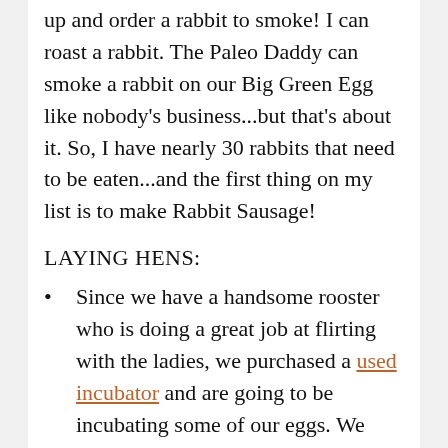up and order a rabbit to smoke! I can roast a rabbit. The Paleo Daddy can smoke a rabbit on our Big Green Egg like nobody's business...but that's about it. So, I have nearly 30 rabbits that need to be eaten...and the first thing on my list is to make Rabbit Sausage!
LAYING HENS:
Since we have a handsome rooster who is doing a great job at flirting with the ladies, we purchased a used incubator and are going to be incubating some of our eggs. We have 23 chickens, so we don't *need* anymore chicks, but we want to show the kids how they grow from egg to chick.